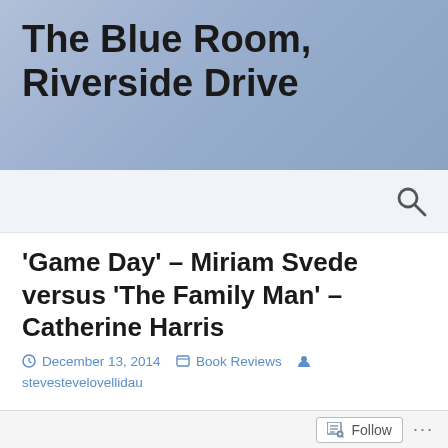The Blue Room, Riverside Drive
'Game Day' – Miriam Svede versus 'The Family Man' – Catherine Harris
December 13, 2014   Book Reviews   stevestevelovellidau
'Best not to bring wives and girlfriends to this party,' advises Laurie (their coach) with a grin as he hands out the details. . . .Or they won't be your wives and girlfriends no more.'
Follow